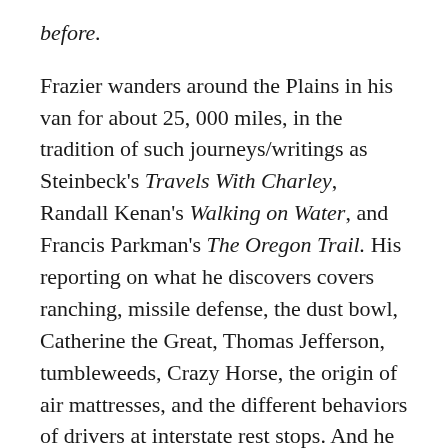before.
Frazier wanders around the Plains in his van for about 25, 000 miles, in the tradition of such journeys/writings as Steinbeck's Travels With Charley, Randall Kenan's Walking on Water, and Francis Parkman's The Oregon Trail. His reporting on what he discovers covers ranching, missile defense, the dust bowl, Catherine the Great, Thomas Jefferson, tumbleweeds, Crazy Horse, the origin of air mattresses, and the different behaviors of drivers at interstate rest stops. And he does it all with great heart, soul, objectivity, and subjectivity. I don't care much for the Plains, except that I find certain parts of their history interesting. But I sure as hell loved this book.
[Figure (other): Small thumbnail image placeholder with label 'sitti']